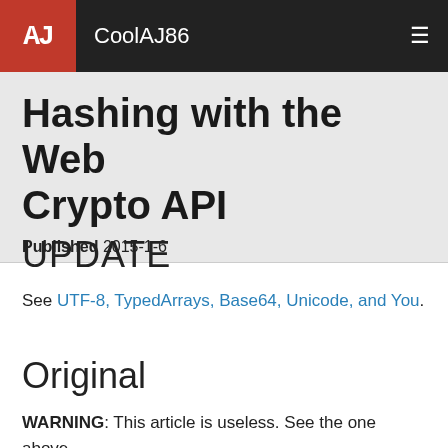CoolAJ86
Hashing with the Web Crypto API
Published 2015-1-6
UPDATE
See UTF-8, TypedArrays, Base64, Unicode, and You.
Original
WARNING: This article is useless. See the one above.